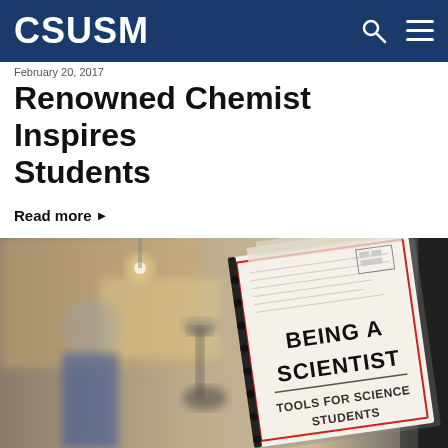CSUSM
February 20, 2017
Renowned Chemist Inspires Students
Read more ▶
[Figure (photo): Laboratory photo showing a person in blue in background near microscope equipment, with a binder/notebook in foreground displaying text 'BEING A SCIENTIST - TOOLS FOR SCIENCE STUDENTS']